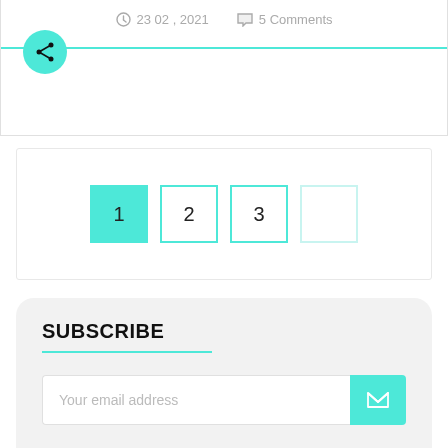23 02 , 2021   5 Comments
[Figure (other): Share icon button (teal circle with share/network icon)]
[Figure (other): Pagination bar with 4 buttons: button 1 (teal filled), button 2 (teal outline), button 3 (teal outline), button 4 (light teal outline)]
SUBSCRIBE
Your email address